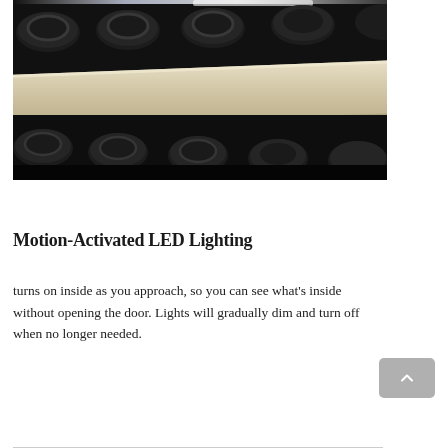[Figure (photo): Close-up photograph of wine bottles stored horizontally on wooden wine rack shelves, viewed from the front. A pale wood shelf divider is prominently visible in the center, with dark wine bottle necks and bases visible above and below. LED lighting glints along the top edge.]
Motion-Activated LED Lighting
turns on inside as you approach, so you can see what's inside without opening the door. Lights will gradually dim and turn off when no longer needed.